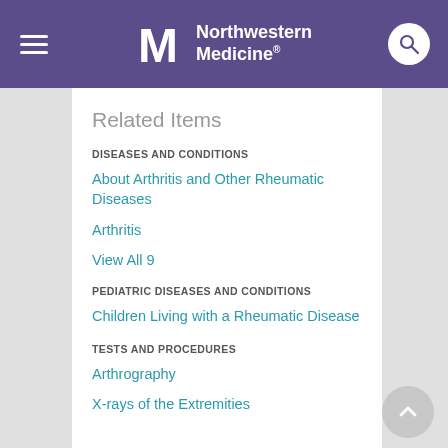Northwestern Medicine
Related Items
DISEASES AND CONDITIONS
About Arthritis and Other Rheumatic Diseases
Arthritis
View All 9
PEDIATRIC DISEASES AND CONDITIONS
Children Living with a Rheumatic Disease
TESTS AND PROCEDURES
Arthrography
X-rays of the Extremities